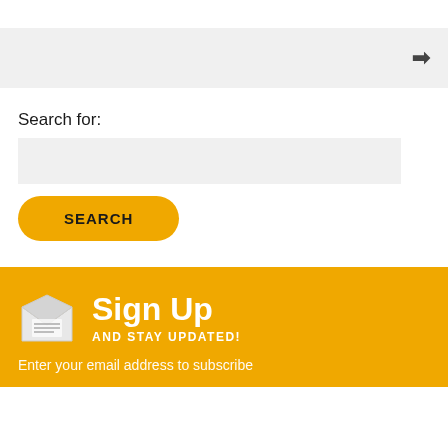[Figure (screenshot): Navigation bar with right arrow button on light grey background]
Search for:
[Figure (screenshot): Search input text field with light grey background]
SEARCH
[Figure (infographic): Sign Up section with golden/yellow background, envelope icon, 'Sign Up' title in white bold text, 'AND STAY UPDATED!' subtitle, and 'Enter your email address to subscribe' text below]